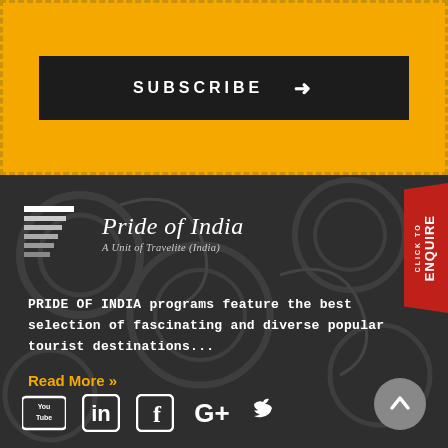[Figure (screenshot): Yellow subscribe banner with dashed border and black subscribe button with arrow]
SUBSCRIBE →
[Figure (logo): Pride of India logo with horizontal stripe icon and italic text 'Pride of India - A Unit of Travelite (India)']
PRIDE OF INDIA programs feature the best selection of fascinating and diverse popular tourist destinations...
Read More »
[Figure (infographic): Social media icons row: YouTube, LinkedIn, Facebook, Google+, Twitter]
[Figure (other): Red CLICK TO ENQUIRE vertical tab on right side]
[Figure (other): Grey circular scroll-to-top button with upward arrow]